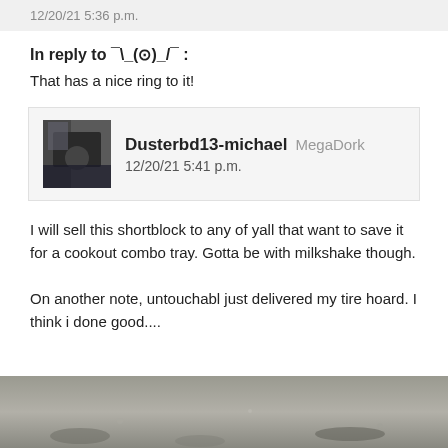12/20/21 5:36 p.m.
In reply to ¯\_(ツ)_/¯ :
That has a nice ring to it!
Dusterbd13-michael  MegaDork
12/20/21 5:41 p.m.
I will sell this shortblock to any of yall that want to save it for a cookout combo tray. Gotta be with milkshake though.
On another note, untouchabl just delivered my tire hoard. I think i done good....
[Figure (photo): Photo of tires on the ground, partially visible at bottom of page]